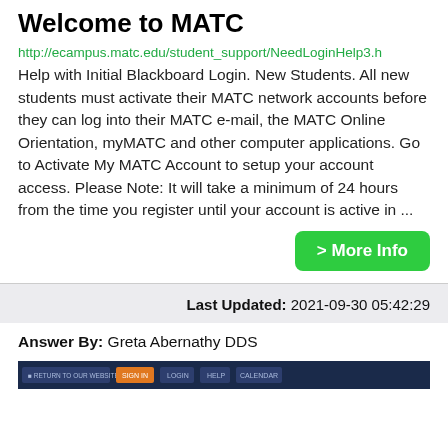Welcome to MATC
http://ecampus.matc.edu/student_support/NeedLoginHelp3.h Help with Initial Blackboard Login. New Students. All new students must activate their MATC network accounts before they can log into their MATC e-mail, the MATC Online Orientation, myMATC and other computer applications. Go to Activate My MATC Account to setup your account access. Please Note: It will take a minimum of 24 hours from the time you register until your account is active in ...
> More Info
Last Updated: 2021-09-30 05:42:29
Answer By: Greta Abernathy DDS
[Figure (screenshot): Screenshot of a dark blue navigation bar with buttons: RETURN TO OUR WEBSITE, orange button, LOGIN, HELP, CALENDAR]